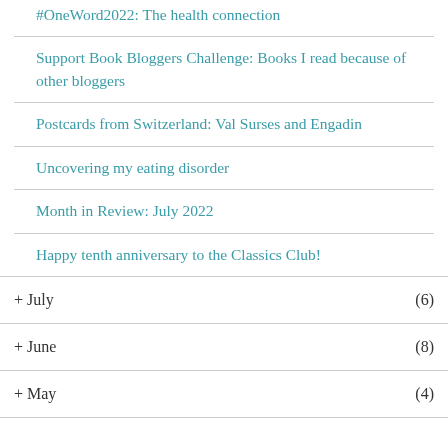#OneWord2022: The health connection
Support Book Bloggers Challenge: Books I read because of other bloggers
Postcards from Switzerland: Val Surses and Engadin
Uncovering my eating disorder
Month in Review: July 2022
Happy tenth anniversary to the Classics Club!
+ July (6)
+ June (8)
+ May (4)